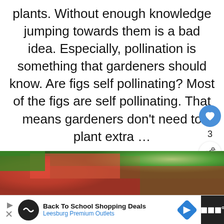plants. Without enough knowledge jumping towards them is a bad idea. Especially, pollination is something that gardeners should know. Are figs self pollinating? Most of the figs are self pollinating. That means gardeners don't need to plant extra …
READ MORE
[Figure (photo): Red and green foliage/flowers, partially visible garden photo strip]
Back To School Shopping Deals
Leesburg Premium Outlets